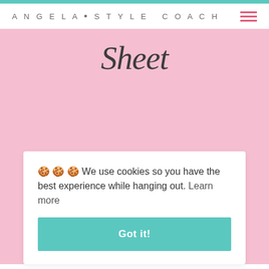ANGELA • STYLE COACH
Sheet
🍪 🍪 🍪 We use cookies so you have the best experience while hanging out. Learn more
Got it!